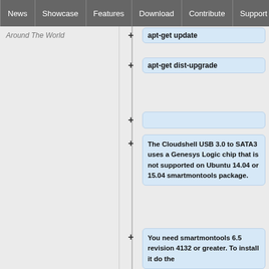News | Showcase | Features | Download | Contribute | Support
Around The World
apt-get update
apt-get dist-upgrade
The Cloudshell USB 3.0 to SATA3 uses a Genesys Logic chip that is not supported on Ubuntu 14.04 or 15.04 smartmontools package.
You need smartmontools 6.5 revision 4132 or greater. To install it do the